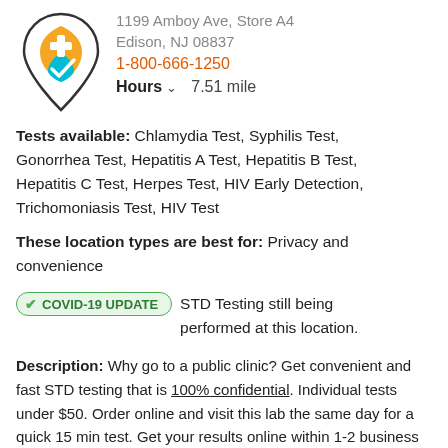[Figure (logo): Location pin icon with medical cross and colorful shield/check design]
1199 Amboy Ave, Store A4
Edison, NJ 08837
1-800-666-1250
Hours  7.51 mile
Tests available: Chlamydia Test, Syphilis Test, Gonorrhea Test, Hepatitis A Test, Hepatitis B Test, Hepatitis C Test, Herpes Test, HIV Early Detection, Trichomoniasis Test, HIV Test
These location types are best for: Privacy and convenience
COVID-19 UPDATE  STD Testing still being performed at this location.
Description: Why go to a public clinic? Get convenient and fast STD testing that is 100% confidential. Individual tests under $50. Order online and visit this lab the same day for a quick 15 min test. Get your results online within 1-2 business days, and